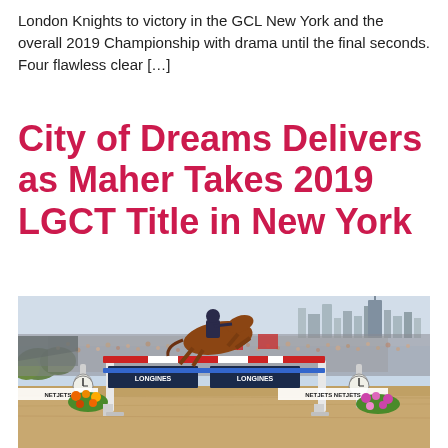London Knights to victory in the GCL New York and the overall 2019 Championship with drama until the final seconds. Four flawless clear […]
City of Dreams Delivers as Maher Takes 2019 LGCT Title in New York
[Figure (photo): A horse and rider jumping over a fence with Longines and Netjets branding at an equestrian show jumping event in New York, with a city skyline visible in the background and a large crowd in the stands.]